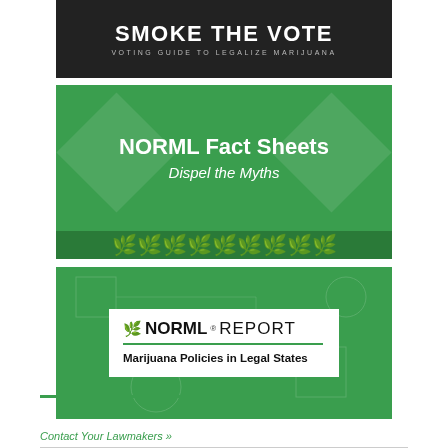[Figure (illustration): Dark banner with white text reading SMOKE THE VOTE - VOTING GUIDE TO LEGALIZE MARIJUANA]
[Figure (illustration): Green banner with diamond background pattern, bold white text NORML Fact Sheets Dispel the Myths, with a row of cannabis leaf icons along the bottom]
[Figure (illustration): Green banner with circuit-board background pattern containing a white card with NORML REPORT logo and subtitle Marijuana Policies in Legal States]
Contact Your Lawmakers »